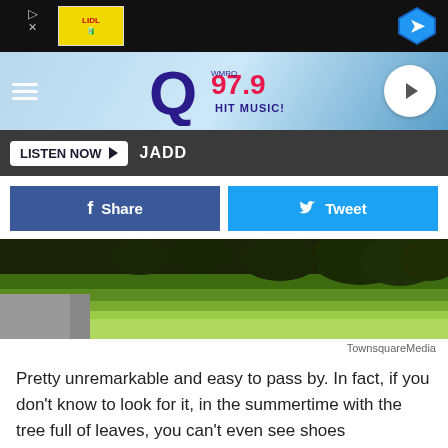[Figure (screenshot): Advertisement bar with Lidl logo in yellow box and blue diamond arrow icon]
[Figure (logo): Q97.9 Hit Music! radio station header logo on sky blue gradient background]
LISTEN NOW ▶  JADD
f Share
Tweet
[Figure (photo): Road with green grass and trees in summertime]
TownsquareMedia
Pretty unremarkable and easy to pass by. In fact, if you don't know to look for it, in the summertime with the tree full of leaves, you can't even see shoes hanging...oh, but they are there. Hundreds of them!